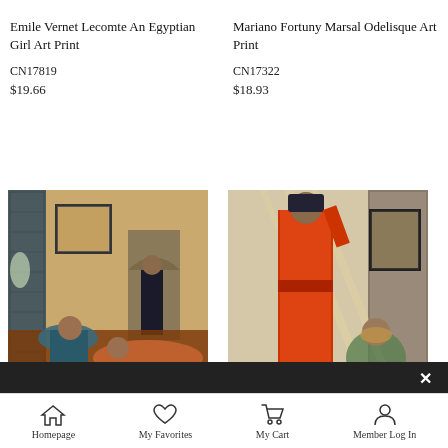Emile Vernet Lecomte An Egyptian Girl Art Print
CN17819
$19.66
Mariano Fortuny Marsal Odelisque Art Print
CN17322
$18.93
[Figure (photo): Orientalist painting showing women reclining in an interior with arched doorway and decorative wall tiles]
[Figure (photo): Orientalist painting showing a woman in red standing near a latticed window with another figure seated behind her]
Homepage   My Favorites   My Cart   Member Log In